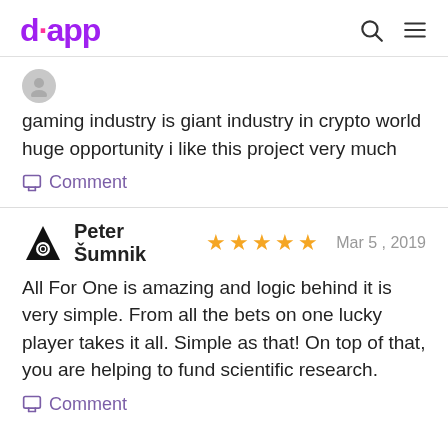dapp
gaming industry is giant industry in crypto world huge opportunity i like this project very much
Comment
Peter Šumnik ★★★★★  Mar 5 , 2019
All For One is amazing and logic behind it is very simple. From all the bets on one lucky player takes it all. Simple as that! On top of that, you are helping to fund scientific research.
Comment